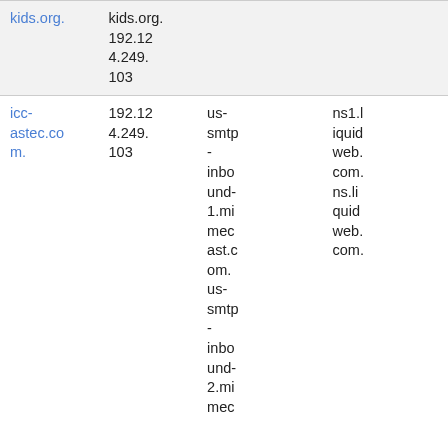| kids.org. | kids.org.
192.124.249.103 |  |  |
| icc-astec.com. | 192.124.249.103 | us-smtp-inbound-1.mimecast.com.
us-smtp-inbound-2.mimec | ns1.liquidweb.com.
ns.liquidweb.com. |